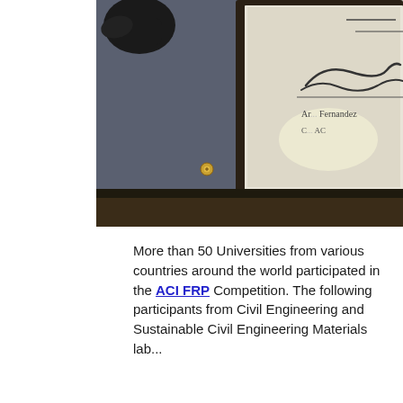[Figure (photo): A framed certificate or award being held, showing a signature and partially visible text 'Ar... Fernandez' and 'C... AC', with a gold corner screw visible on the dark frame. The lower portion shows the surface the frame rests on.]
More than 50 Universities from various countries around the world participated in the ACI FRP Competition. The following participants from Civil Engineering and Sustainable Civil Engineering Materials lab...